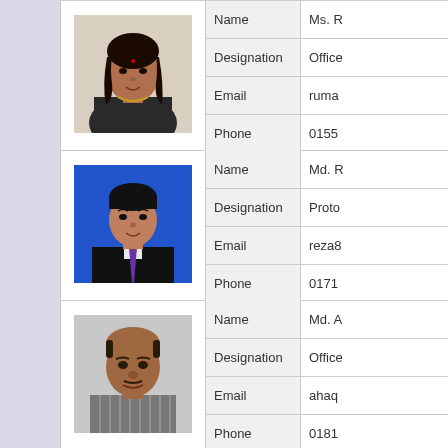| Photo | Field | Value |
| --- | --- | --- |
| [photo] | Name | Ms. R... |
|  | Designation | Office... |
|  | Email | ruma... |
|  | Phone | 0155... |
| [photo] | Name | Md. R... |
|  | Designation | Proto... |
|  | Email | reza8... |
|  | Phone | 0171... |
| [photo] | Name | Md. A... |
|  | Designation | Office... |
|  | Email | ahaq... |
|  | Phone | 0181... |